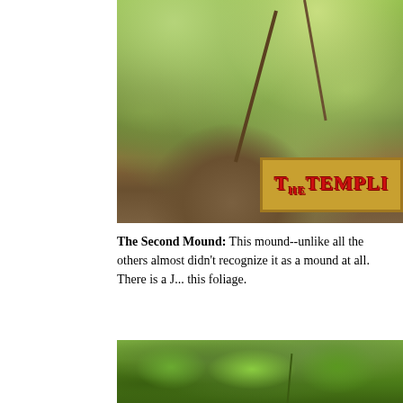[Figure (photo): Photo of a jungle mound covered in dense foliage and branches, with a partially visible sign in the lower right corner reading 'THE TEMPL...' in red gothic lettering on a gold/yellow background]
The Second Mound: This mound--unlike all the others almost didn't recognize it as a mound at all. There is a J... this foliage.
[Figure (photo): Photo of dense green jungle foliage with large leaves and vines, partially cut off at the bottom of the page]